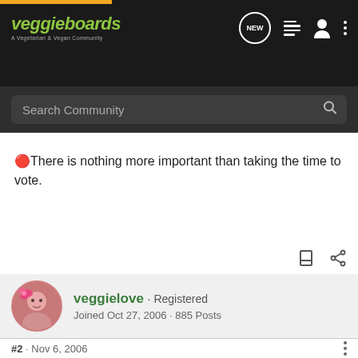veggieboards · A Vegetarian & Vegan Community
Search Community
🔴There is nothing more important than taking the time to vote.
veggielove · Registered
Joined Oct 27, 2006 · 885 Posts
#2 · Nov 6, 2006
🔴I have been volunteering for a campaign I support in my area,